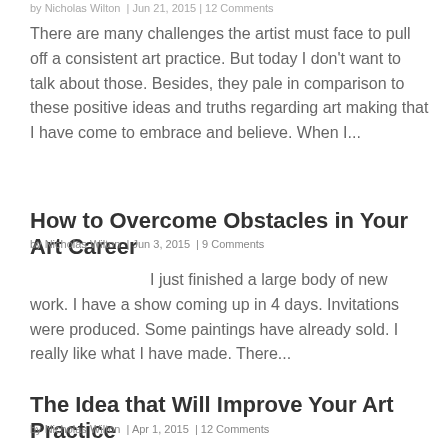by Nicholas Wilton | Jun 21, 2015 | 12 Comments
There are many challenges the artist must face to pull off a consistent art practice. But today I don't want to talk about those. Besides, they pale in comparison to these positive ideas and truths regarding art making that I have come to embrace and believe. When I...
How to Overcome Obstacles in Your Art Career
by Nicholas Wilton | Jun 3, 2015 | 9 Comments
I just finished a large body of new work. I have a show coming up in 4 days. Invitations were produced. Some paintings have already sold. I really like what I have made. There...
The Idea that Will Improve Your Art Practice
by Nicholas Wilton | Apr 1, 2015 | 12 Comments